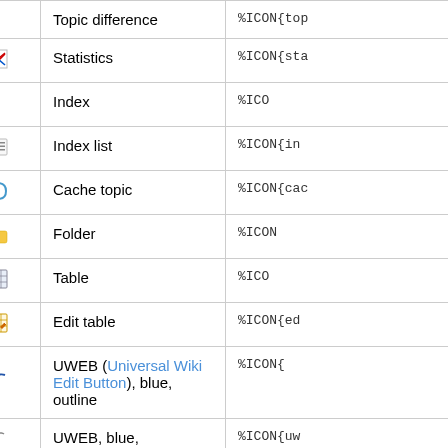| Name | Icon | Description | Markup |
| --- | --- | --- | --- |
| topicdiffs |  | Topic difference | %ICON{top... |
| statistics | [icon] | Statistics | %ICON{sta... |
| index | [icon] | Index | %ICO... |
| indexlist | [icon] | Index list | %ICON{in... |
| cachetopic | [icon] | Cache topic | %ICON{cac... |
| folder | [icon] | Folder | %ICON... |
| table | [icon] | Table | %ICO... |
| edittable | [icon] | Edit table | %ICON{ed... |
| uweb-bo | [icon] | UWEB (Universal Wiki Edit Button), blue, outline | %ICON{... |
| uweb-bo12 | [icon] | UWEB, blue, | %ICON{uw... |